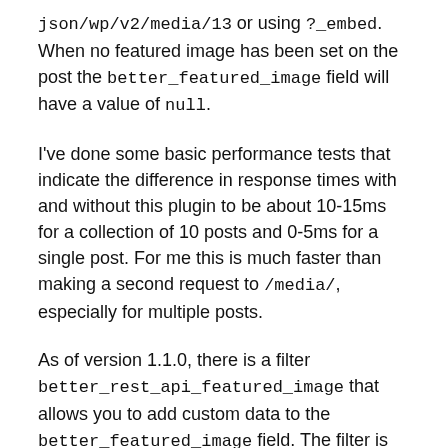json/wp/v2/media/13 or using ?_embed. When no featured image has been set on the post the better_featured_image field will have a value of null.
I've done some basic performance tests that indicate the difference in response times with and without this plugin to be about 10-15ms for a collection of 10 posts and 0-5ms for a single post. For me this is much faster than making a second request to /media/, especially for multiple posts.
As of version 1.1.0, there is a filter better_rest_api_featured_image that allows you to add custom data to the better_featured_image field. The filter is directly on the return value of the function that returns the better_featured_image field. This can be used to do things like add custom image meta or an SVG version of the image to the response. Here's an example of how you might use